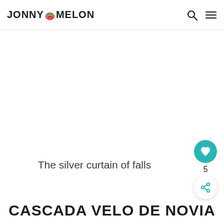JONNY MELON
The silver curtain of falls
CASCADA VELO DE NOVIA